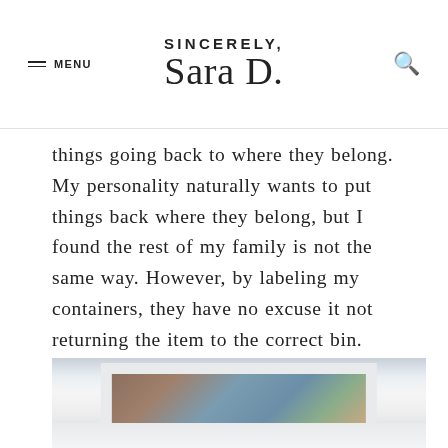MENU  SINCERELY, Sara D.  [search icon]
things going back to where they belong. My personality naturally wants to put things back where they belong, but I found the rest of my family is not the same way. However, by labeling my containers, they have no excuse it not returning the item to the correct bin.
[Figure (photo): Interior room photo showing a white door frame with decorative floral wallpaper or framed artwork visible through the doorway, and a white ceramic cat figurine on a shelf. The lower portion shows a reflective white surface.]